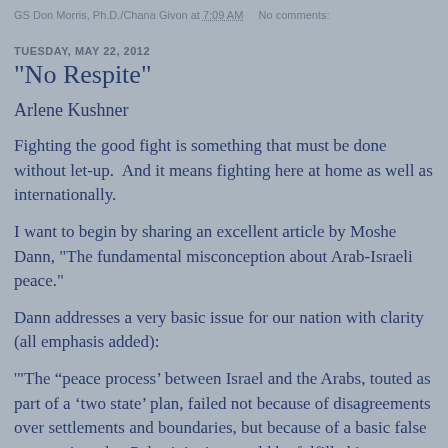GS Don Morris, Ph.D./Chana Givon at 7:09 AM   No comments:
TUESDAY, MAY 22, 2012
"No Respite"
Arlene Kushner
Fighting the good fight is something that must be done without let-up.  And it means fighting here at home as well as internationally.
I want to begin by sharing an excellent article by Moshe Dann, "The fundamental misconception about Arab-Israeli peace."
Dann addresses a very basic issue for our nation with clarity (all emphasis added):
'"The “peace process’ between Israel and the Arabs, touted as part of a ‘two state’ plan, failed not because of disagreements over settlements and boundaries, but because of a basic false assumption: that Palestinianism could be fulfilled in a Palestinian